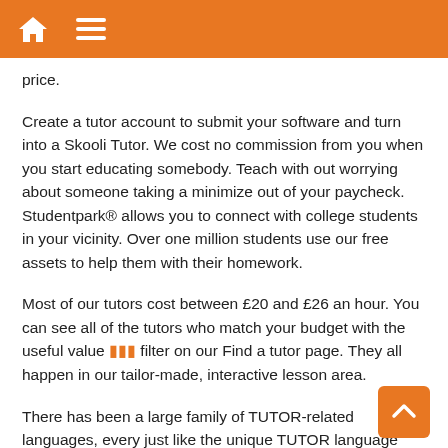Navigation bar with home and menu icons
price.
Create a tutor account to submit your software and turn into a Skooli Tutor. We cost no commission from you when you start educating somebody. Teach with out worrying about someone taking a minimize out of your paycheck. Studentpark® allows you to connect with college students in your vicinity. Over one million students use our free assets to help them with their homework.
Most of our tutors cost between £20 and £26 an hour. You can see all of the tutors who match your budget with the useful value ••• filter on our Find a tutor page. They all happen in our tailor-made, interactive lesson area.
There has been a large family of TUTOR-related languages, every just like the unique TUTOR language however with differences. In specific, TUTOR was a component of a system (the PLATO